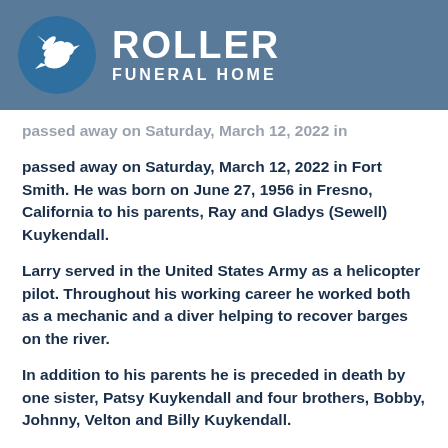[Figure (logo): Roller Funeral Home logo: blue circle with white dove on left, text 'ROLLER FUNERAL HOME' on right, on steel blue background banner]
[partial line truncated] passed away on Saturday, March 12, 2022 in Fort Smith. He was born on June 27, 1956 in Fresno, California to his parents, Ray and Gladys (Sewell) Kuykendall.
Larry served in the United States Army as a helicopter pilot. Throughout his working career he worked both as a mechanic and a diver helping to recover barges on the river.
In addition to his parents he is preceded in death by one sister, Patsy Kuykendall and four brothers, Bobby, Johnny, Velton and Billy Kuykendall.